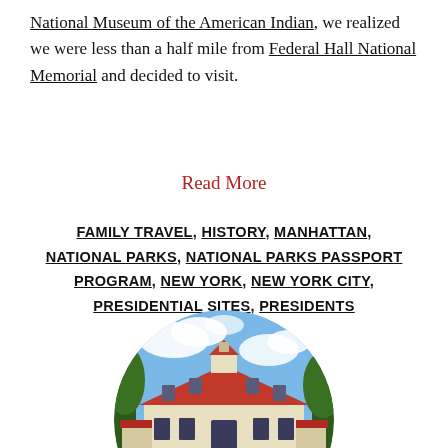National Museum of the American Indian, we realized we were less than a half mile from Federal Hall National Memorial and decided to visit.
Read More
FAMILY TRAVEL, HISTORY, MANHATTAN, NATIONAL PARKS, NATIONAL PARKS PASSPORT PROGRAM, NEW YORK, NEW YORK CITY, PRESIDENTIAL SITES, PRESIDENTS
[Figure (photo): Circular cropped photograph of a large historic colonial-style mansion with a red roof (Mount Vernon), blue sky with clouds, and green trees in the background.]